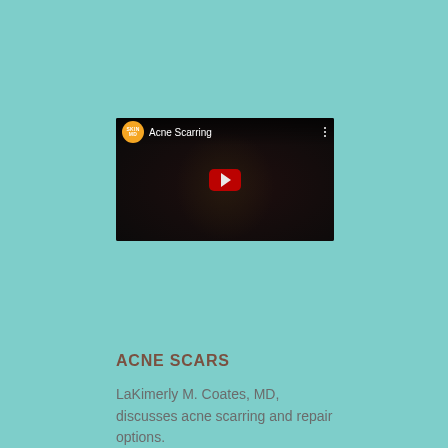[Figure (screenshot): YouTube video thumbnail for 'Acne Scarring' by Skin MD channel. Dark background with a person visible, red YouTube play button in center, channel logo (orange circle with SKIN MD text) and video title in top bar, three-dot menu icon top right.]
ACNE SCARS
LaKimerly M. Coates, MD, discusses acne scarring and repair options.